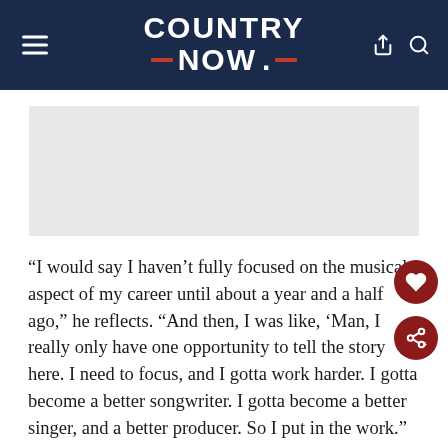COUNTRY NOW.
[Figure (other): Light gray advertisement/image placeholder area]
“I would say I haven’t fully focused on the musical aspect of my career until about a year and a half ago,” he reflects. “And then, I was like, ‘Man, I really only have one opportunity to tell the story here. I need to focus, and I gotta work harder. I gotta become a better songwriter. I gotta become a better singer, and a better producer. So I put in the work.”